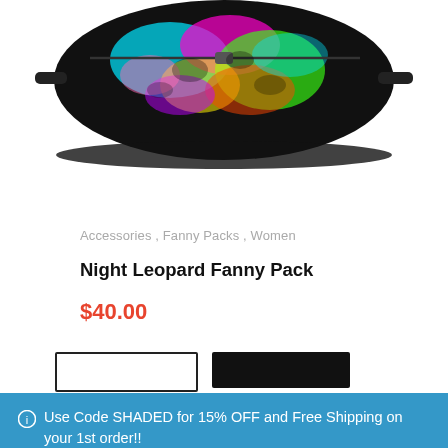[Figure (photo): Colorful neon leopard print fanny pack on white background, cropped at top]
Accessories ,  Fanny Packs ,  Women
Night Leopard Fanny Pack
$40.00
[Figure (other): Add to cart and buy now buttons]
Use Code SHADED for 15% OFF and Free Shipping on your 1st order!!
Dismiss
[Figure (photo): Green and black tie-dye baseball cap, partially visible at bottom of page]